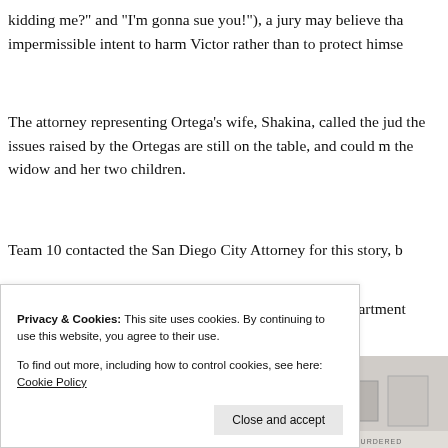kidding me?" and "I'm gonna sue you!"), a jury may believe that impermissible intent to harm Victor rather than to protect himse
The attorney representing Ortega's wife, Shakina, called the jud the issues raised by the Ortegas are still on the table, and could the widow and her two children.
Team 10 contacted the San Diego City Attorney for this story, b
McCarthy is still a member of the San Diego Police Department
[Figure (photo): Two thumbnail images side by side - left shows a diagonal striped pattern in brown/black (appears to be crime scene or archival photo), right shows a partial interior scene with furniture]
Privacy & Cookies: This site uses cookies. By continuing to use this website, you agree to their use. To find out more, including how to control cookies, see here: Cookie Policy